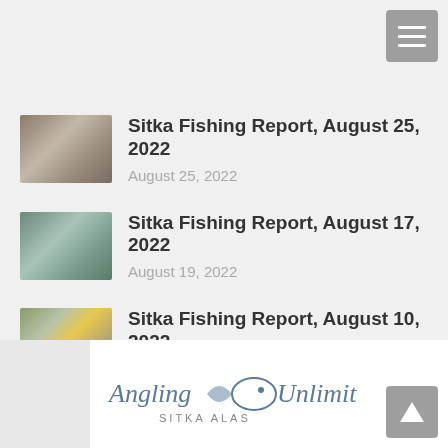[Figure (other): Hamburger menu button (three white lines on grey square)]
Sitka Fishing Report, August 25, 2022
August 25, 2022
Sitka Fishing Report, August 17, 2022
August 19, 2022
Sitka Fishing Report, August 10, 2022
August 11, 2022
Sitka Fishing Report, August 5, 2022
August 5, 2022
[Figure (logo): Angling Unlimited Sitka Alaska logo with fish illustration, partially visible at bottom of page]
[Figure (other): Scroll-to-top button (up arrow on grey square)]